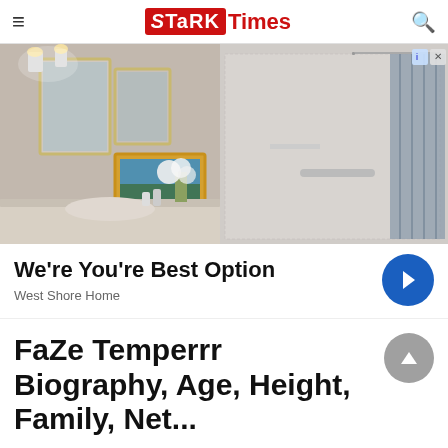Stark Times
[Figure (photo): Bathroom interior with vanity mirror, wall sconces, framed artwork, and walk-in shower with marble walls and curtain rod]
We're You're Best Option
West Shore Home
FaZe Temperrr Biography, Age, Height, Family, Net...